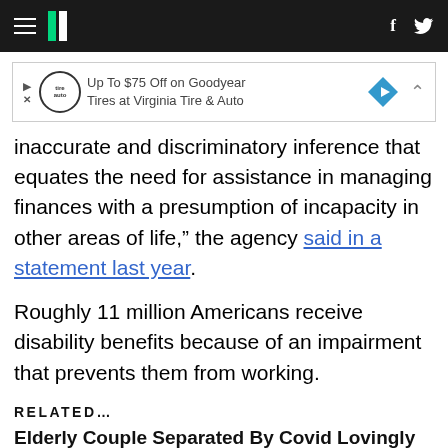HuffPost navigation with hamburger menu, logo, Facebook and Twitter icons
[Figure (other): Advertisement banner: Up To $75 Off on Goodyear Tires at Virginia Tire & Auto]
inaccurate and discriminatory inference that equates the need for assistance in managing finances with a presumption of incapacity in other areas of life,” the agency said in a statement last year.
Roughly 11 million Americans receive disability benefits because of an impairment that prevents them from working.
RELATED…
Elderly Couple Separated By Covid Lovingly Reunited